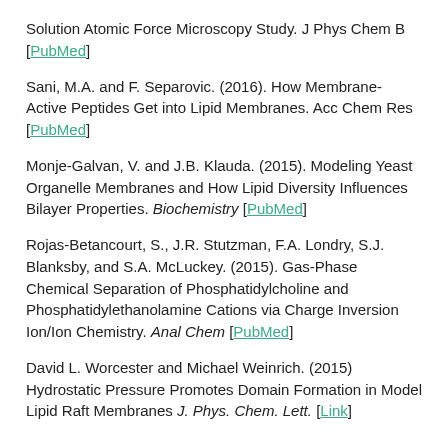Solution Atomic Force Microscopy Study. J Phys Chem B [PubMed]
Sani, M.A. and F. Separovic. (2016). How Membrane-Active Peptides Get into Lipid Membranes. Acc Chem Res [PubMed]
Monje-Galvan, V. and J.B. Klauda. (2015). Modeling Yeast Organelle Membranes and How Lipid Diversity Influences Bilayer Properties. Biochemistry [PubMed]
Rojas-Betancourt, S., J.R. Stutzman, F.A. Londry, S.J. Blanksby, and S.A. McLuckey. (2015). Gas-Phase Chemical Separation of Phosphatidylcholine and Phosphatidylethanolamine Cations via Charge Inversion Ion/Ion Chemistry. Anal Chem [PubMed]
David L. Worcester and Michael Weinrich. (2015) Hydrostatic Pressure Promotes Domain Formation in Model Lipid Raft Membranes J. Phys. Chem. Lett. [Link]